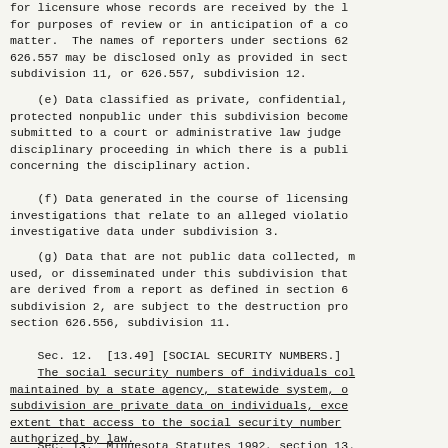for licensure whose records are received by the l for purposes of review or in anticipation of a co matter.  The names of reporters under sections 62 626.557 may be disclosed only as provided in sect subdivision 11, or 626.557, subdivision 12.
(e) Data classified as private, confidential, protected nonpublic under this subdivision become submitted to a court or administrative law judge disciplinary proceeding in which there is a publi concerning the disciplinary action.
(f) Data generated in the course of licensing investigations that relate to an alleged violatio investigative data under subdivision 3.
(g) Data that are not public data collected, m used, or disseminated under this subdivision that are derived from a report as defined in section 6 subdivision 2, are subject to the destruction pro section 626.556, subdivision 11.
Sec. 12.  [13.49] [SOCIAL SECURITY NUMBERS.]
The social security numbers of individuals col maintained by a state agency, statewide system, o subdivision are private data on individuals, exce extent that access to the social security number authorized by law.
Sec. 13.  Minnesota Statutes 1992, section 13.